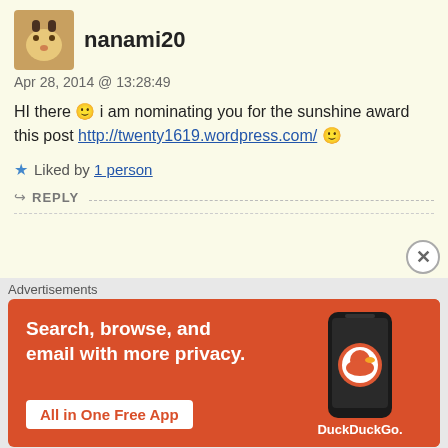nanami20
Apr 28, 2014 @ 13:28:49
HI there 🙂 i am nominating you for the sunshine award this post http://twenty1619.wordpress.com/ 🙂
Liked by 1 person
REPLY
Mary F.
Apr 28, 2014 @ 22:56:12
Hi! Bunny Slippers sent me here. Cool blog! Come visit my b http://www.brooklyndoodle.com
Advertisements
[Figure (screenshot): DuckDuckGo advertisement banner: Search, browse, and email with more privacy. All in One Free App. Shows a phone with DuckDuckGo logo.]